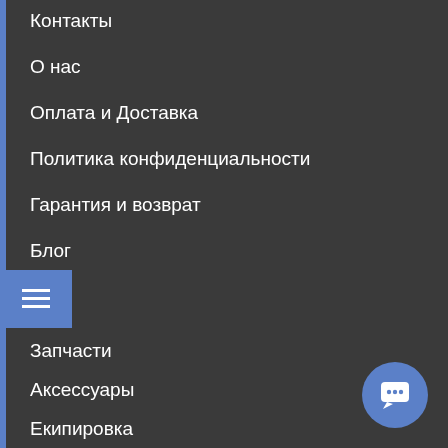Контакты
О нас
Оплата и Доставка
Политика конфиденциальности
Гарантия и возврат
Блог
Запчасти
Аксессуары
Екипировка
Уход за велосипедом
Инструменты
Самокаты